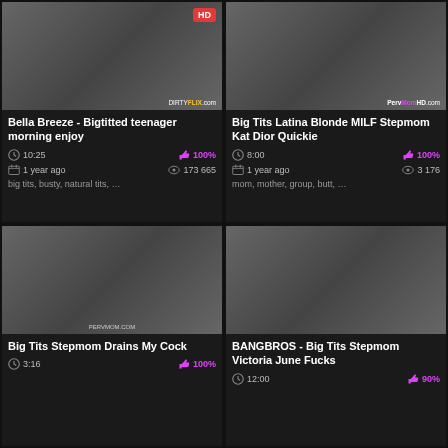[Figure (screenshot): Video thumbnail for Bella Breeze - Bigtitted teenager morning enjoy, with HD badge]
Bella Breeze - Bigtitted teenager morning enjoy
10:25 | 100% | 1 year ago | 173 665
big tits, busty, natural tits, …
[Figure (screenshot): Video thumbnail for Big Tits Latina Blonde MILF Stepmom Kat Dior Quickie]
Big Tits Latina Blonde MILF Stepmom Kat Dior Quickie
8:00 | 100% | 1 year ago | 3 176
mom, mother, group, butt, …
[Figure (screenshot): Video thumbnail for Big Tits Stepmom Drains My Cock]
Big Tits Stepmom Drains My Cock
3:16 | 100%
[Figure (screenshot): Video thumbnail for BANGBROS - Big Tits Stepmom Victoria June Fucks]
BANGBROS - Big Tits Stepmom Victoria June Fucks
12:00 | 90%